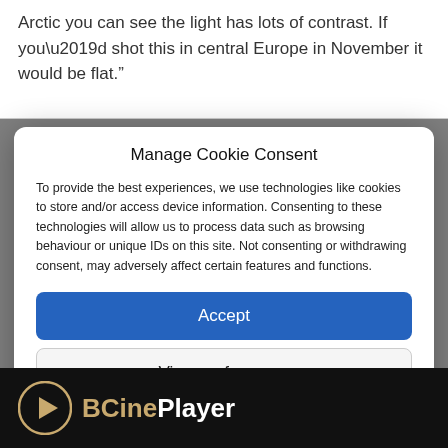Arctic you can see the light has lots of contrast. If you’d shot this in central Europe in November it would be flat.”
Manage Cookie Consent
To provide the best experiences, we use technologies like cookies to store and/or access device information. Consenting to these technologies will allow us to process data such as browsing behaviour or unique IDs on this site. Not consenting or withdrawing consent, may adversely affect certain features and functions.
Accept
View preferences
Cookie Policy  Privacy Statement
[Figure (logo): BCinePlayer logo with golden play button circle icon and brand name in white and gold on black background]